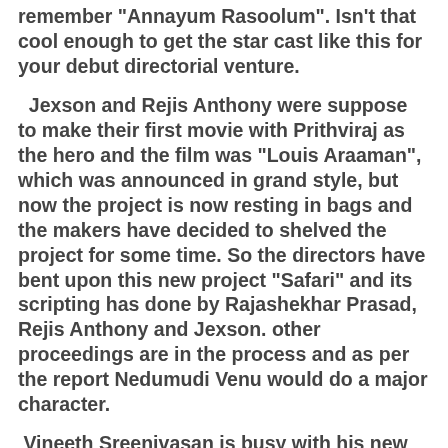remember "Annayum Rasoolum". Isn't that cool enough to get the star cast like this for your debut directorial venture.
Jexson and Rejis Anthony were suppose to make their first movie with Prithviraj as the hero and the film was "Louis Araaman", which was announced in grand style, but now the project is now resting in bags and the makers have decided to shelved the project for some time. So the directors have bent upon this new project "Safari" and its scripting has done by Rajashekhar Prasad, Rejis Anthony and Jexson. other proceedings are in the process and as per the report Nedumudi Venu would do a major character.
Vineeth Sreenivasan is busy with his new script and it will be interesting to see how he